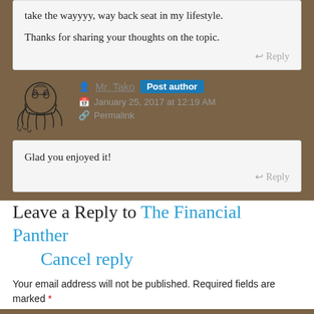take the wayyyy, way back seat in my lifestyle.

Thanks for sharing your thoughts on the topic.
Reply
[Figure (illustration): Octopus logo/avatar illustration in black and white ink style]
Mr. Tako  Post author
January 25, 2017 at 12:19 AM
Permalink
Glad you enjoyed it!
Reply
Leave a Reply to The Financial Panther
Cancel reply
Your email address will not be published. Required fields are marked *